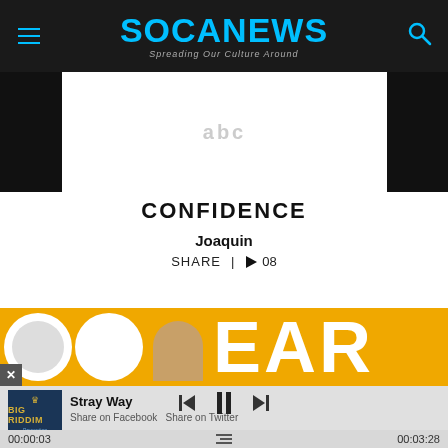SOCANEWS — Spreading Our Culture Around
[Figure (screenshot): Partial webpage screenshot showing a white card over dark background with a logo/text area]
CONFIDENCE
Joaquin
SHARE | ▶ 08
[Figure (screenshot): Yellow banner with large circular/letter graphics and a person's face]
[Figure (screenshot): Music player showing Big Riddim album art, track Stray Way, with playback controls, time 00:00:03 / 00:03:28]